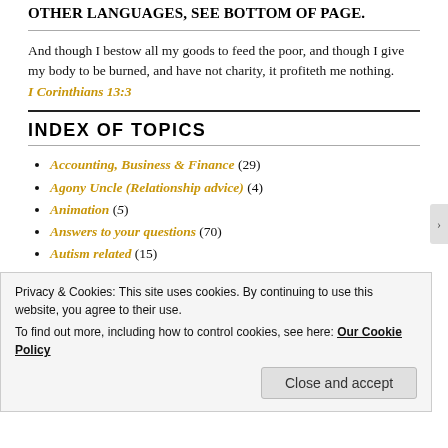OTHER LANGUAGES, SEE BOTTOM OF PAGE.
And though I bestow all my goods to feed the poor, and though I give my body to be burned, and have not charity, it profiteth me nothing.
I Corinthians 13:3
INDEX OF TOPICS
Accounting, Business & Finance (29)
Agony Uncle (Relationship advice) (4)
Animation (5)
Answers to your questions (70)
Autism related (15)
Privacy & Cookies: This site uses cookies. By continuing to use this website, you agree to their use.
To find out more, including how to control cookies, see here: Our Cookie Policy
Close and accept